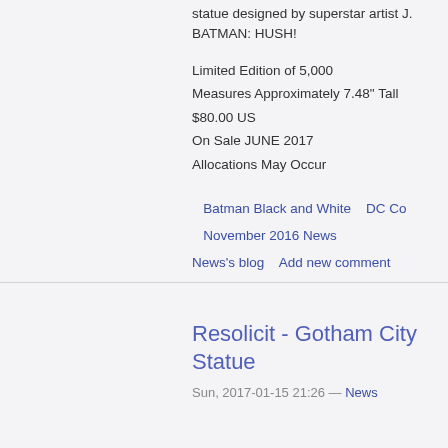statue designed by superstar artist J. BATMAN: HUSH!
Limited Edition of 5,000
Measures Approximately 7.48" Tall
$80.00 US
On Sale JUNE 2017
Allocations May Occur
Batman Black and White    DC Co
November 2016 News
News's blog    Add new comment
Resolicit - Gotham City Statue
Sun, 2017-01-15 21:26 — News